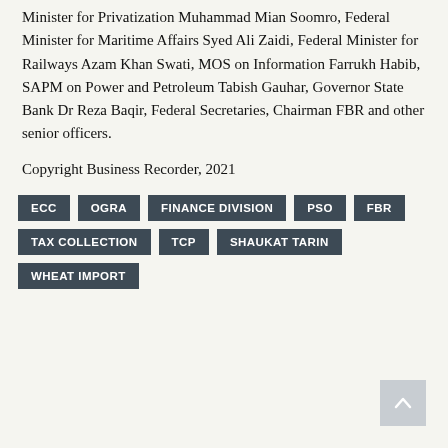Minister for Privatization Muhammad Mian Soomro, Federal Minister for Maritime Affairs Syed Ali Zaidi, Federal Minister for Railways Azam Khan Swati, MOS on Information Farrukh Habib, SAPM on Power and Petroleum Tabish Gauhar, Governor State Bank Dr Reza Baqir, Federal Secretaries, Chairman FBR and other senior officers.
Copyright Business Recorder, 2021
ECC
OGRA
FINANCE DIVISION
PSO
FBR
TAX COLLECTION
TCP
SHAUKAT TARIN
WHEAT IMPORT